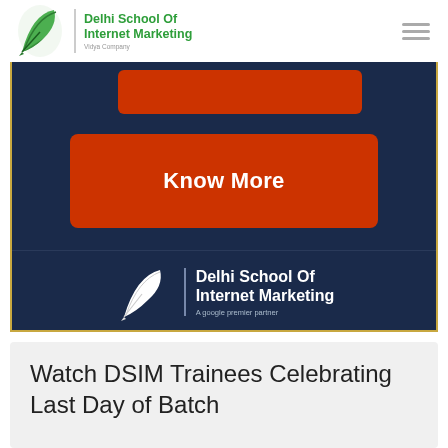[Figure (logo): Delhi School Of Internet Marketing logo with green feather icon and text, Vidya Company tagline]
[Figure (screenshot): Dark navy blue banner with two orange-red buttons. Top button partially visible, second large button labeled 'Know More'. Bottom section has DSIM logo with white text 'Delhi School Of Internet Marketing' and 'A google premier partner'. Gold/yellow border around the banner.]
Watch DSIM Trainees Celebrating Last Day of Batch